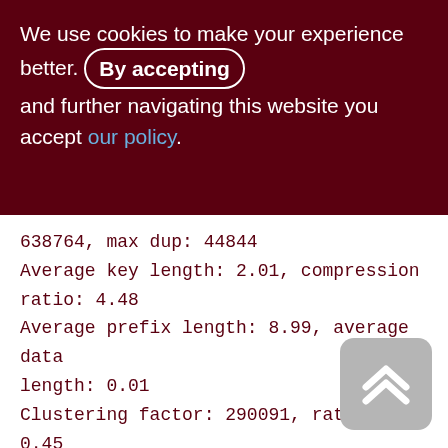We use cookies to make your experience better. By accepting and further navigating this website you accept our policy.
638764, max dup: 44844
Average key length: 2.01, compression ratio: 4.48
Average prefix length: 8.99, average data length: 0.01
Clustering factor: 290091, ratio: 0.45
Fill distribution:
0 - 19% = 0
20 - 39% = 0
40 - 59% = 560
60 - 79% = 88
80 - 99% = 19
[Figure (other): Scroll-to-top button: rounded rectangle with upward chevron arrow icon, grey background]